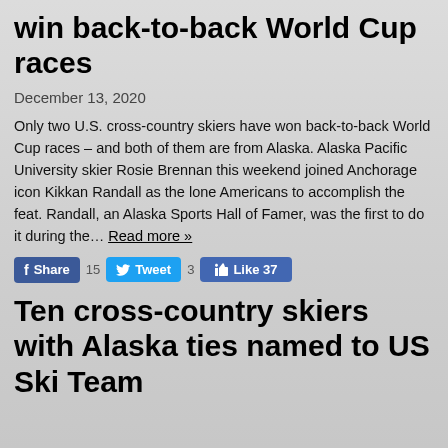win back-to-back World Cup races
December 13, 2020
Only two U.S. cross-country skiers have won back-to-back World Cup races – and both of them are from Alaska. Alaska Pacific University skier Rosie Brennan this weekend joined Anchorage icon Kikkan Randall as the lone Americans to accomplish the feat. Randall, an Alaska Sports Hall of Famer, was the first to do it during the… Read more »
[Figure (infographic): Social sharing buttons: Facebook Share (15), Tweet (3), Like 37]
Ten cross-country skiers with Alaska ties named to US Ski Team